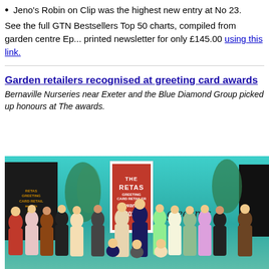Jeno's Robin on Clip was the highest new entry at No 23.
See the full GTN Bestsellers Top 50 charts, compiled from garden centre Ep... printed newsletter for only £145.00 using this link.
Garden retailers recognised at greeting card awards
Bernaville Nurseries near Exeter and the Blue Diamond Group picked up honours at The awards.
[Figure (photo): Group photo of award winners at The RETAS Greeting Card Retailer Awards 2021, held in a teal/green decorated venue. A large group of people stand together, many holding trophies. A RETAS awards banner and 'greetings' text are visible in the background.]